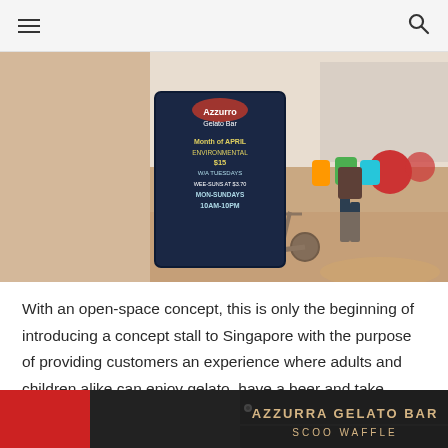☰  🔍
[Figure (photo): Interior photo of a shopping mall or food court. On the left is a chalkboard sign for Azzurro Gelato Bar listing hours and promotions. In the background are colorful store displays, shoppers, and a scooter on a shiny floor.]
With an open-space concept, this is only the beginning of introducing a concept stall to Singapore with the purpose of providing customers an experience where adults and children alike can enjoy gelato, have a beer and take home some goodies.
[Figure (photo): Close-up photo of the Azzurro Gelato Bar signage showing text 'AZZURRA GELATO BAR' and 'SCOOP WAFFLE' on a dark chalkboard-style surface, with red walls visible on the left.]